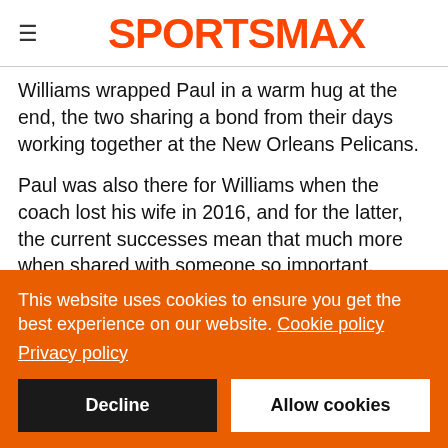SPORTSMAX
Williams wrapped Paul in a warm hug at the end, the two sharing a bond from their days working together at the New Orleans Pelicans.
Paul was also there for Williams when the coach lost his wife in 2016, and for the latter, the current successes mean that much more when shared with someone so important.
"The emotions are happy, grateful, tired, relieved," Williams said. "It's one of those moments for me that quite frankly I never
This website uses cookies to ensure you get the best experience on our website. Cookie policy
Privacy policy
Decline
Allow cookies